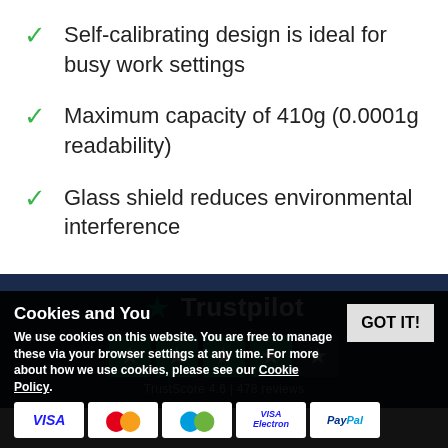Self-calibrating design is ideal for busy work settings
Maximum capacity of 410g (0.0001g readability)
Glass shield reduces environmental interference
[Figure (logo): Trustpilot logo with green star and white text, followed by star rating boxes and TrustScore 4.6 | 478 reviews]
Cookies and You
We use cookies on this website. You are free to manage these via your browser settings at any time. For more about how we use cookies, please see our Cookie Policy.
[Figure (other): Payment method logos: VISA, Mastercard, Maestro, VISA Electron, PayPal]